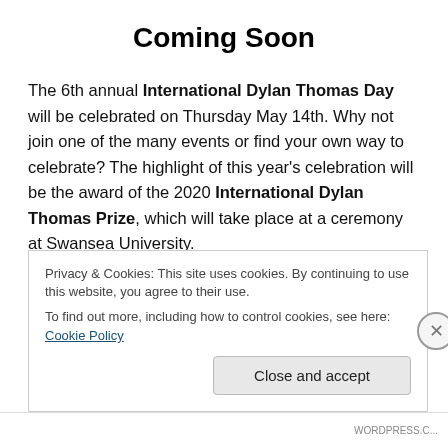Coming Soon
The 6th annual International Dylan Thomas Day will be celebrated on Thursday May 14th. Why not join one of the many events or find your own way to celebrate? The highlight of this year's celebration will be the award of the 2020 International Dylan Thomas Prize, which will take place at a ceremony at Swansea University.
For other forthcoming events visit the
Privacy & Cookies: This site uses cookies. By continuing to use this website, you agree to their use.
To find out more, including how to control cookies, see here: Cookie Policy
Close and accept